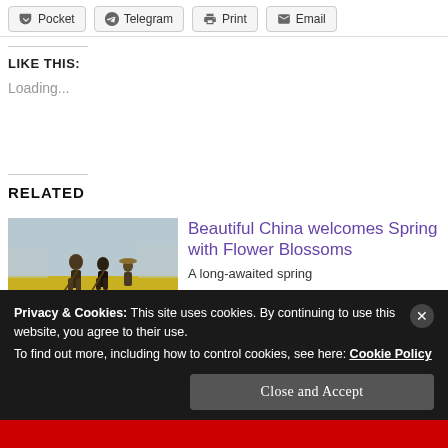[Figure (screenshot): Share buttons row: Pocket, Telegram, Print, Email]
LIKE THIS:
Loading...
RELATED
[Figure (photo): People working in a yellow flower field in China]
Beautiful China welcomes Spring with Flower Blossoms
A long-awaited spring
Privacy & Cookies: This site uses cookies. By continuing to use this website, you agree to their use.
To find out more, including how to control cookies, see here: Cookie Policy
Close and Accept